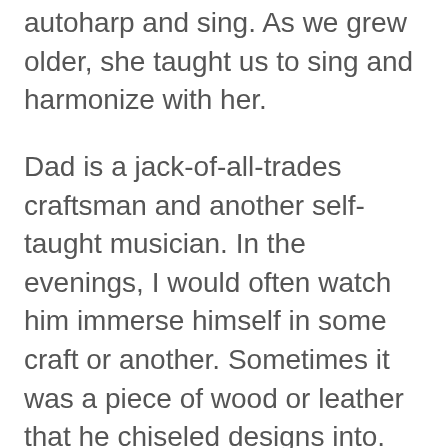autoharp and sing. As we grew older, she taught us to sing and harmonize with her.
Dad is a jack-of-all-trades craftsman and another self-taught musician. In the evenings, I would often watch him immerse himself in some craft or another. Sometimes it was a piece of wood or leather that he chiseled designs into. Sometimes it was beadwork or jewelry that took shape under his artisan hands. My favorite times were when he'd get out his banjo or guitar and play away in